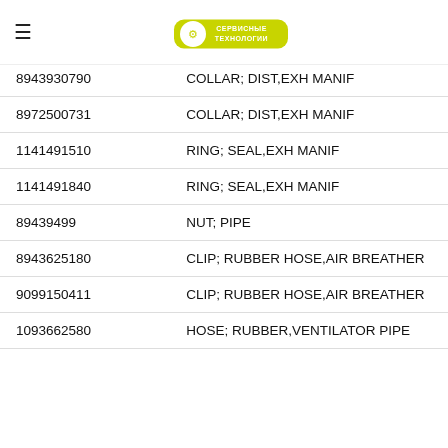Сервисные Технологии
| Part Number | Description |
| --- | --- |
| 8943930790 | COLLAR; DIST,EXH MANIF |
| 8972500731 | COLLAR; DIST,EXH MANIF |
| 1141491510 | RING; SEAL,EXH MANIF |
| 1141491840 | RING; SEAL,EXH MANIF |
| 89439499 | NUT; PIPE |
| 8943625180 | CLIP; RUBBER HOSE,AIR BREATHER |
| 9099150411 | CLIP; RUBBER HOSE,AIR BREATHER |
| 1093662580 | HOSE; RUBBER,VENTILATOR PIPE |